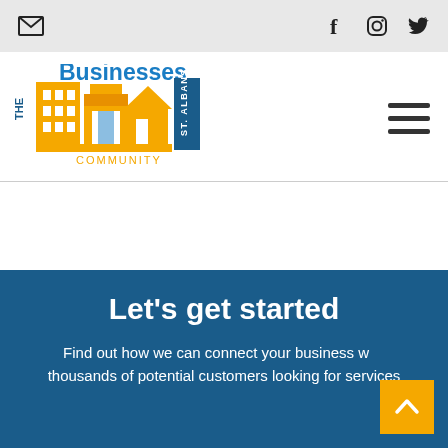Top bar with email and social icons (Facebook, Instagram, Twitter)
[Figure (logo): The Businesses Community St. Albans logo with building/shop/home icons in yellow and blue]
Let's get started
Find out how we can connect your business with thousands of potential customers looking for services